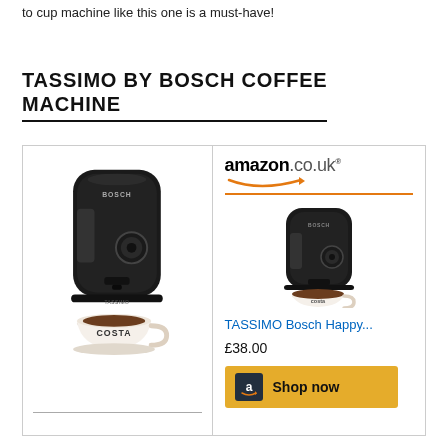to cup machine like this one is a must-have!
TASSIMO BY BOSCH COFFEE MACHINE
[Figure (photo): Black Tassimo by Bosch coffee machine with a Costa-branded white cup filled with coffee in front of it]
[Figure (screenshot): Amazon.co.uk product listing showing TASSIMO Bosch Happy coffee machine priced at £38.00 with a Shop now button]
TASSIMO Bosch Happy...
£38.00